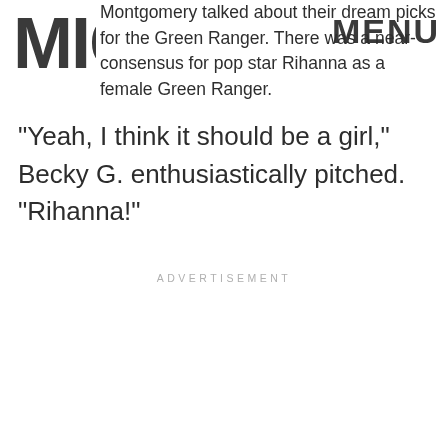MIC | MENU
Montgomery talked about their dream picks for the Green Ranger. There was a near-consensus for pop star Rihanna as a female Green Ranger.
"Yeah, I think it should be a girl," Becky G. enthusiastically pitched. "Rihanna!"
ADVERTISEMENT